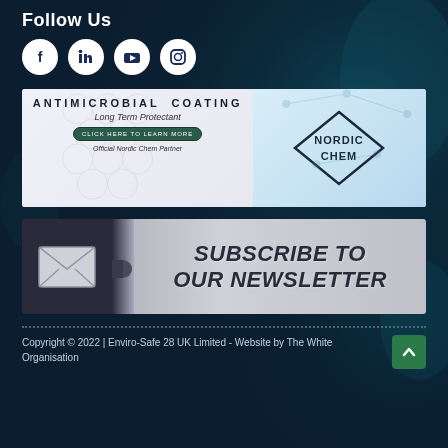Follow Us
[Figure (infographic): Four social media icons in white circles: Facebook, LinkedIn, YouTube, Instagram]
[Figure (infographic): Antimicrobial Coating advertisement banner for Nordic Chem. Text: ANTIMICROBIAL COATING, Long Term Protectant, CLICK HERE TO LEARN MORE, Official Nordic Chem Partner, NORDIC CHEM logo in diamond shape]
[Figure (infographic): Subscribe to our newsletter banner with envelope icon and puzzle piece connector. Text: SUBSCRIBE TO OUR NEWSLETTER]
Copyright © 2022 | Enviro-Safe 28 UK Limited - Website by The White Organisation